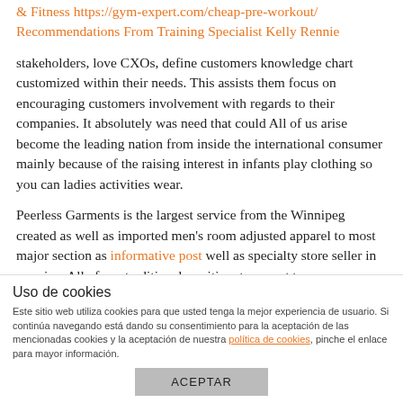& Fitness https://gym-expert.com/cheap-pre-workout/ Recommendations From Training Specialist Kelly Rennie
stakeholders, love CXOs, define customers knowledge chart customized within their needs. This assists them focus on encouraging customers involvement with regards to their companies. It absolutely was need that could All of us arise become the leading nation from inside the international consumer mainly because of the raising interest in infants play clothing so you can ladies activities wear.
Peerless Garments is the largest service from the Winnipeg created as well as imported men's room adjusted apparel to most major section as informative post well as specialty store seller in america. All of our traditional maritime transport trousers manufactured it's easy to last and supposed to
Uso de cookies
Este sitio web utiliza cookies para que usted tenga la mejor experiencia de usuario. Si continúa navegando está dando su consentimiento para la aceptación de las mencionadas cookies y la aceptación de nuestra política de cookies, pinche el enlace para mayor información.